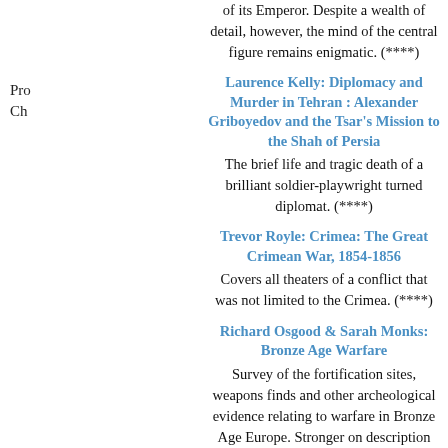of its Emperor. Despite a wealth of detail, however, the mind of the central figure remains enigmatic. (****)
Pro
Ch
Laurence Kelly: Diplomacy and Murder in Tehran : Alexander Griboyedov and the Tsar's Mission to the Shah of Persia
The brief life and tragic death of a brilliant soldier-playwright turned diplomat. (****)
Trevor Royle: Crimea: The Great Crimean War, 1854-1856
Covers all theaters of a conflict that was not limited to the Crimea. (****)
Richard Osgood & Sarah Monks: Bronze Age Warfare
Survey of the fortification sites, weapons finds and other archeological evidence relating to warfare in Bronze Age Europe. Stronger on description than interpretation but excellent at what it does. (****)
Kenneth M. Pollack: Arabs at War: Military Effectiveness, 1948-1991
Since 1948 Arab armies have